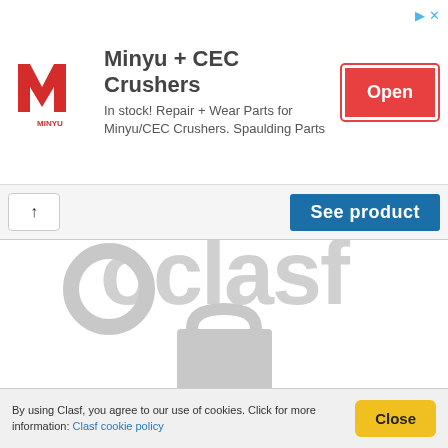[Figure (infographic): Minyu + CEC Crushers advertisement banner with red Minyu logo on left, ad text in center, and red Open button on right]
[Figure (screenshot): Navigation bar with back arrow chevron button on left and blue 'See product' button on right]
[Figure (logo): Oclasf watermark logo displayed in gray on white background, showing the Oclasf brand name with a shopping bag icon]
By using Clasf, you agree to our use of cookies. Click for more information: Clasf cookie policy